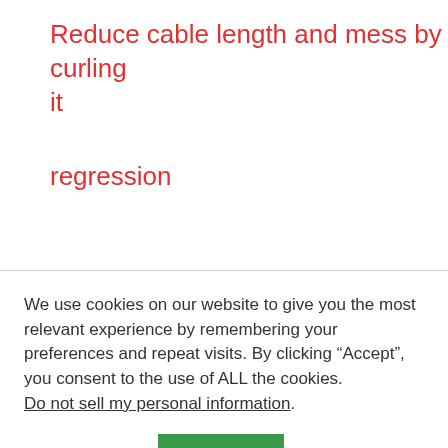Reduce cable length and mess by curling it
regression
We use cookies on our website to give you the most relevant experience by remembering your preferences and repeat visits. By clicking “Accept”, you consent to the use of ALL the cookies. Do not sell my personal information.
scripting
security
serialata
snowleopard